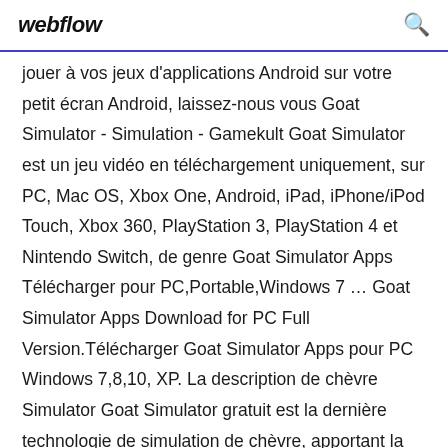webflow
jouer à vos jeux d'applications Android sur votre petit écran Android, laissez-nous vous Goat Simulator - Simulation - Gamekult Goat Simulator est un jeu vidéo en téléchargement uniquement, sur PC, Mac OS, Xbox One, Android, iPad, iPhone/iPod Touch, Xbox 360, PlayStation 3, PlayStation 4 et Nintendo Switch, de genre Goat Simulator Apps Télécharger pour PC,Portable,Windows 7 … Goat Simulator Apps Download for PC Full Version.Télécharger Goat Simulator Apps pour PC Windows 7,8,10, XP. La description de chèvre Simulator Goat Simulator gratuit est la dernière technologie de simulation de chèvre, apportant la simulation de prochaine génération chèvre